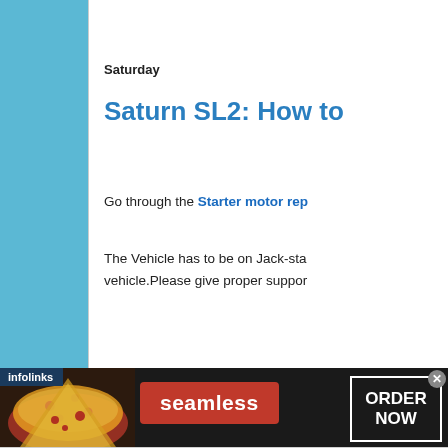Saturday
Saturn SL2: How to
Go through the Starter motor rep
The Vehicle has to be on Jack-sta vehicle.Please give proper suppor
Here are the instructions for remo
1. There are 2 bolts, the one o
2. You will need an extension
[Figure (infographic): Seamless food delivery advertisement banner with pizza image, red Seamless button, and ORDER NOW box with close button. Infolinks label in top-left corner.]